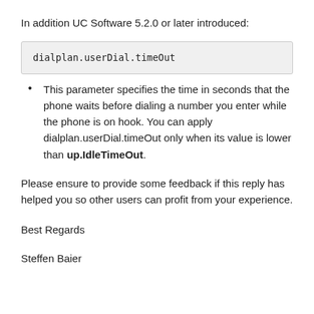In addition UC Software 5.2.0 or later introduced:
dialplan.userDial.timeOut
This parameter specifies the time in seconds that the phone waits before dialing a number you enter while the phone is on hook. You can apply dialplan.userDial.timeOut only when its value is lower than up.IdleTimeOut.
Please ensure to provide some feedback if this reply has helped you so other users can profit from your experience.
Best Regards
Steffen Baier